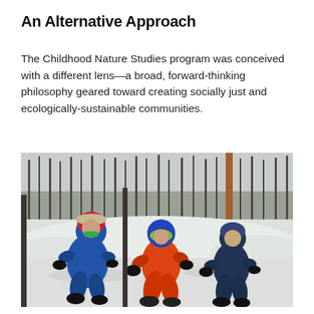An Alternative Approach
The Childhood Nature Studies program was conceived with a different lens—a broad, forward-thinking philosophy geared toward creating socially just and ecologically-sustainable communities.
[Figure (photo): Three young children in colorful winter snowsuits and hats running and playing through deep snow in a forest of bare birch and aspen trees. The child on the left wears a blue snowsuit and red hat, the middle child wears an orange snowsuit with a blue helmet, and the child on the right wears a dark navy snowsuit and blue hat. The scene is wintry with heavy snow covering the ground and trees in the background.]